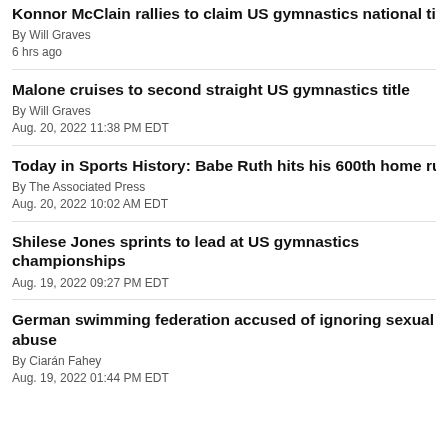Konnor McClain rallies to claim US gymnastics national title
By Will Graves
6 hrs ago
Malone cruises to second straight US gymnastics title
By Will Graves
Aug. 20, 2022 11:38 PM EDT
Today in Sports History: Babe Ruth hits his 600th home run
By The Associated Press
Aug. 20, 2022 10:02 AM EDT
Shilese Jones sprints to lead at US gymnastics championships
Aug. 19, 2022 09:27 PM EDT
German swimming federation accused of ignoring sexual abuse
By Ciarán Fahey
Aug. 19, 2022 01:44 PM EDT